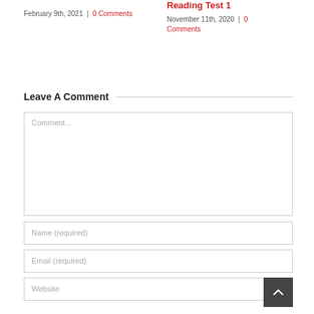February 9th, 2021  |  0 Comments
Reading Test 1
November 11th, 2020  |  0 Comments
Leave A Comment
Comment...
Name (required)
Email (required)
Website